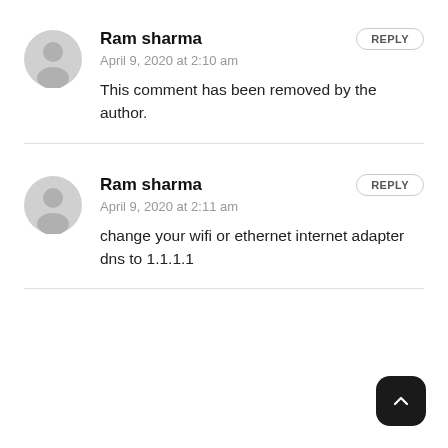[Figure (illustration): Gray user avatar icon (silhouette of a person) for comment 1]
Ram sharma
REPLY
April 9, 2020 at 2:10 am
This comment has been removed by the author.
[Figure (illustration): Gray user avatar icon (silhouette of a person) for comment 2]
Ram sharma
REPLY
April 9, 2020 at 2:11 am
change your wifi or ethernet internet adapter dns to 1.1.1.1